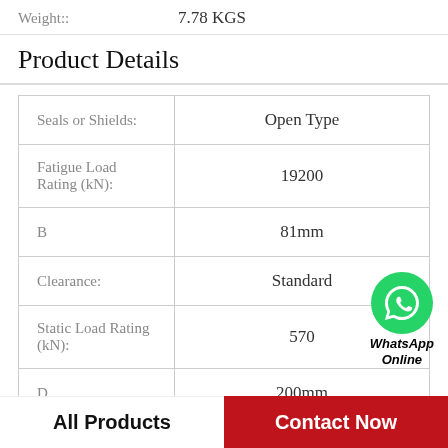Weight:: 7.78 KGS
Product Details
| Property | Value |
| --- | --- |
| Seals or Shields: | Open Type |
| Fatigue Load Rating (kN): | 19200 |
| B | 81mm |
| Clearance: | Standard |
| Static Load Rating (kN): | 570 |
| D | 200mm |
[Figure (logo): WhatsApp Online badge with green phone icon and bold italic text 'WhatsApp Online']
All Products
Contact Now